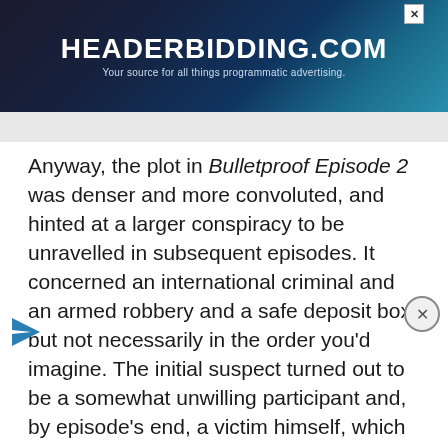[Figure (screenshot): Advertisement banner for headerbidding.com with teal/dark blue gradient background. Title reads HEADERBIDDING.COM, subtitle reads Your source for all things programmatic advertising.]
Anyway, the plot in Bulletproof Episode 2 was denser and more convoluted, and hinted at a larger conspiracy to be unravelled in subsequent episodes. It concerned an international criminal and an armed robbery and a safe deposit box, but not necessarily in the order you’d imagine. The initial suspect turned out to be a somewhat unwilling participant and, by episode’s end, a victim himself, which means that there are bigger, badder threats to law and order than Bishop and Pike first thought, and they might well include the King of Pop.